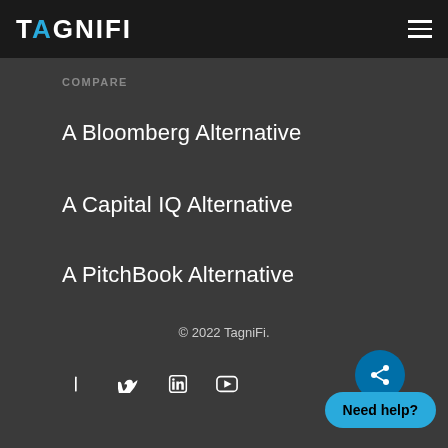TAGNIFI
COMPARE
A Bloomberg Alternative
A Capital IQ Alternative
A PitchBook Alternative
© 2022 TagniFi.
Need help?